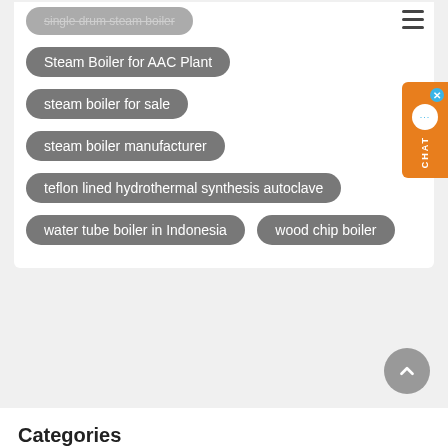single drum steam boiler
Steam Boiler for AAC Plant
steam boiler for sale
steam boiler manufacturer
teflon lined hydrothermal synthesis autoclave
water tube boiler in Indonesia
wood chip boiler
Categories